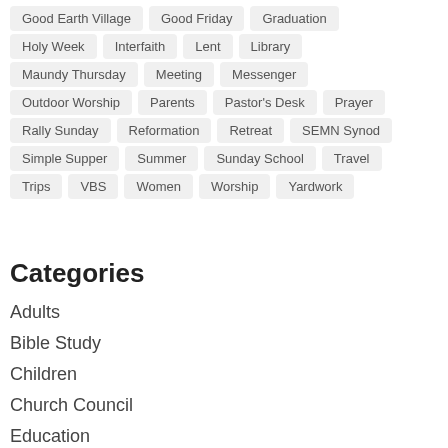Good Earth Village
Good Friday
Graduation
Holy Week
Interfaith
Lent
Library
Maundy Thursday
Meeting
Messenger
Outdoor Worship
Parents
Pastor's Desk
Prayer
Rally Sunday
Reformation
Retreat
SEMN Synod
Simple Supper
Summer
Sunday School
Travel
Trips
VBS
Women
Worship
Yardwork
Categories
Adults
Bible Study
Children
Church Council
Education
Families